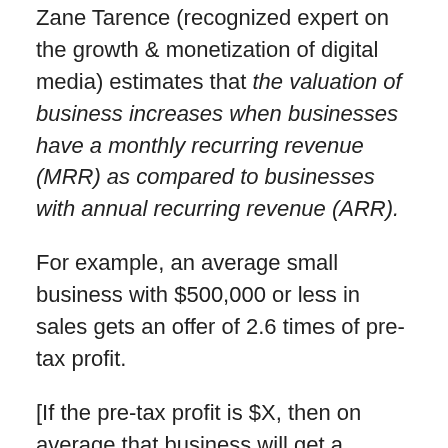Zane Tarence (recognized expert on the growth & monetization of digital media) estimates that the valuation of business increases when businesses have a monthly recurring revenue (MRR) as compared to businesses with annual recurring revenue (ARR).
For example, an average small business with $500,000 or less in sales gets an offer of 2.6 times of pre-tax profit.
[If the pre-tax profit is $X, then on average that business will get a buying offer at 2.6 times of $X (= $2.6*X)]